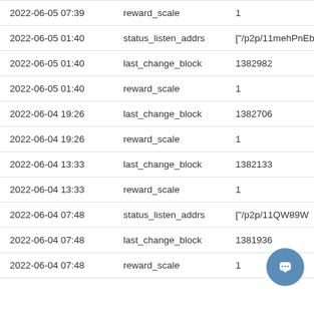| Date/Time | Field | Value |
| --- | --- | --- |
| 2022-06-05 07:39 | reward_scale | 1 |
| 2022-06-05 01:40 | status_listen_addrs | ["/p2p/11mehPnEbRZX |
| 2022-06-05 01:40 | last_change_block | 1382982 |
| 2022-06-05 01:40 | reward_scale | 1 |
| 2022-06-04 19:26 | last_change_block | 1382706 |
| 2022-06-04 19:26 | reward_scale | 1 |
| 2022-06-04 13:33 | last_change_block | 1382133 |
| 2022-06-04 13:33 | reward_scale | 1 |
| 2022-06-04 07:48 | status_listen_addrs | ["/p2p/11QW89W |
| 2022-06-04 07:48 | last_change_block | 1381936 |
| 2022-06-04 07:48 | reward_scale | 1 |